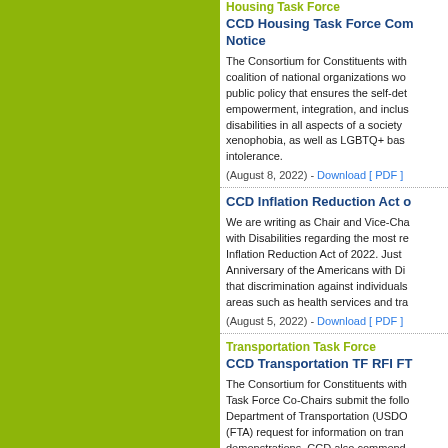Housing Task Force
CCD Housing Task Force Com Notice
The Consortium for Constituents with coalition of national organizations wo public policy that ensures the self-det empowerment, integration, and inclus disabilities in all aspects of a society xenophobia, as well as LGBTQ+ bas intolerance.
(August 8, 2022) - Download [ PDF ]
CCD Inflation Reduction Act o
We are writing as Chair and Vice-Cha with Disabilities regarding the most re Inflation Reduction Act of 2022. Just Anniversary of the Americans with Di that discrimination against individuals areas such as health services and tra
(August 5, 2022) - Download [ PDF ]
Transportation Task Force
CCD Transportation TF RFI FT
The Consortium for Constituents with Task Force Co-Chairs submit the foll Department of Transportation (USDC (FTA) request for information on tran demonstrations. CCD also commend staff for its recent celebration of the 3